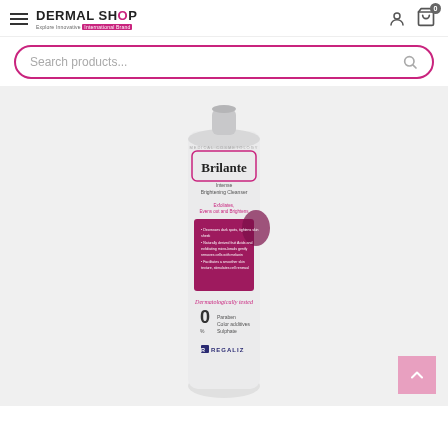DERMAL SHOP - Explore Innovative International Brand
[Figure (screenshot): Search products... search bar with pink border and magnifying glass icon]
[Figure (photo): Brilante Intense Brightening Cleanser tube product photo - white tube with pink label, Regaliz brand, Medical Cosmetology, Dermatologically tested, 0% Paraben Color additives Sulphate]